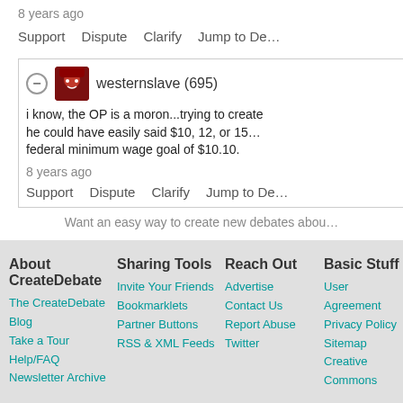8 years ago
Support   Dispute   Clarify   Jump to De...
westernslave (695)
i know, the OP is a moron...trying to create...
he could have easily said $10, 12, or 15...
federal minimum wage goal of $10.10.
8 years ago
Support   Dispute   Clarify   Jump to De...
Want an easy way to create new debates abou...
About CreateDebate | The CreateDebate Blog | Take a Tour | Help/FAQ | Newsletter Archive | Sharing Tools | Invite Your Friends | Bookmarklets | Partner Buttons | RSS & XML Feeds | Reach Out | Advertise | Contact Us | Report Abuse | Twitter | Basic Stuff | User Agreement | Privacy Policy | Sitemap | Creative Commons